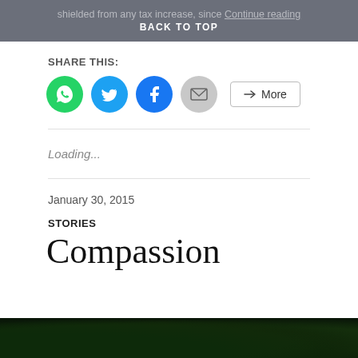shielded from any tax increase, since Continue reading
BACK TO TOP
SHARE THIS:
[Figure (infographic): Social share buttons: WhatsApp (green circle), Twitter (blue circle), Facebook (blue circle), Email (grey circle), More button]
Loading...
January 30, 2015
STORIES
Compassion
[Figure (photo): Dark green foliage / forest photo strip at bottom of page]